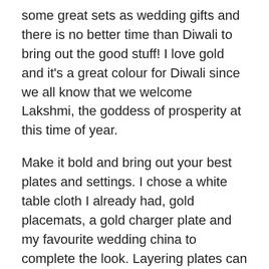some great sets as wedding gifts and there is no better time than Diwali to bring out the good stuff! I love gold and it's a great colour for Diwali since we all know that we welcome Lakshmi, the goddess of prosperity at this time of year.
Make it bold and bring out your best plates and settings. I chose a white table cloth I already had, gold placemats, a gold charger plate and my favourite wedding china to complete the look. Layering plates can make a setting have depth and adding a bowl for lentils or raitha is perfect for the top. Add a napkin with two layers one here is white linen with and Indian-inspired border plus a turquoise organza one rolled in. A wine glass (not for alcohol of course!) for a nice mango spritzer.